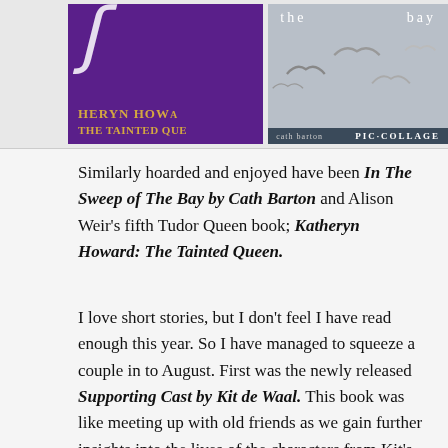[Figure (photo): Two book covers side by side: left is a purple cover for 'Katheryn Howard: The Tainted Queen' by Alison Weir with gold text; right is a grey/blue cover for 'In The Sweep of The Bay' by Cath Barton with birds and sea imagery, with PIC·COLLAGE watermark.]
Similarly hoarded and enjoyed have been In The Sweep of The Bay by Cath Barton and Alison Weir's fifth Tudor Queen book; Katheryn Howard: The Tainted Queen.
I love short stories, but I don't feel I have read enough this year. So I have managed to squeeze a couple in to August. First was the newly released Supporting Cast by Kit de Waal. This book was like meeting up with old friends as we gain further insights into the lives of the characters from Kit's previous novels. This one is going